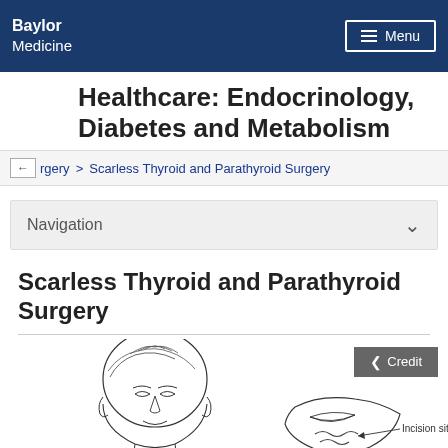Baylor Medicine
Healthcare: Endocrinology, Diabetes and Metabolism
Surgery > Scarless Thyroid and Parathyroid Surgery
Navigation
Scarless Thyroid and Parathyroid Surgery
[Figure (illustration): Medical illustration showing a frontal face view and a close-up of incision sites near the mouth/chin area for scarless thyroid and parathyroid surgery. Labels indicate 'Incision sites'.]